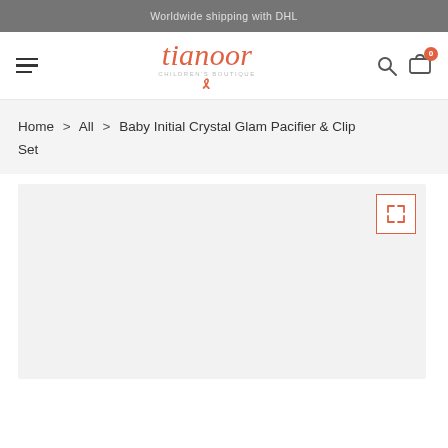Worldwide shipping with DHL
[Figure (logo): Tianoor Children's Boutique logo with script text and bow decoration]
Home > All > Baby Initial Crystal Glam Pacifier & Clip Set
[Figure (photo): Product image area for Baby Initial Crystal Glam Pacifier & Clip Set, shown on light gray background with expand/fullscreen button in top right corner]